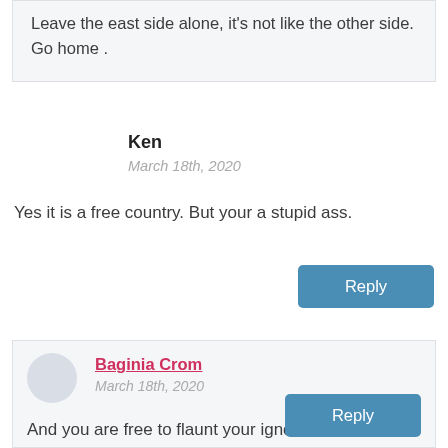Leave the east side alone, it's not like the other side. Go home .
Ken
March 18th, 2020
Yes it is a free country. But your a stupid ass.
Baginia Crom
March 18th, 2020
And you are free to flaunt your ignorance in somebody else's backyard!